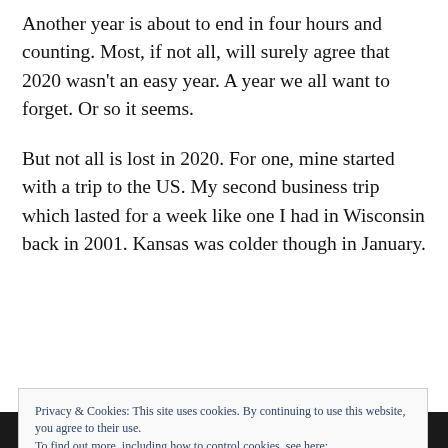Another year is about to end in four hours and counting. Most, if not all, will surely agree that 2020 wasn't an easy year. A year we all want to forget. Or so it seems.
But not all is lost in 2020. For one, mine started with a trip to the US. My second business trip which lasted for a week like one I had in Wisconsin back in 2001. Kansas was colder though in January.
Privacy & Cookies: This site uses cookies. By continuing to use this website, you agree to their use.
To find out more, including how to control cookies, see here:
Cookie Policy
[Close and accept]